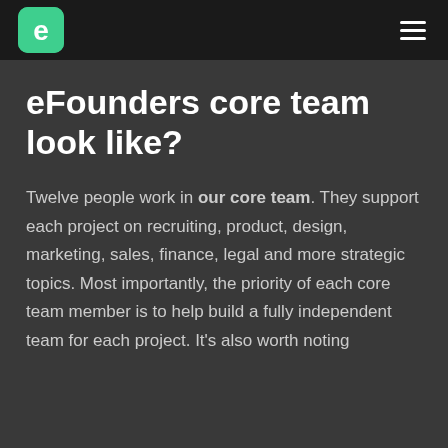[Figure (logo): eFounders logo: green rounded square with white letter e]
eFounders core team look like?
Twelve people work in our core team. They support each project on recruiting, product, design, marketing, sales, finance, legal and more strategic topics. Most importantly, the priority of each core team member is to help build a fully independent team for each project. It's also worth noting